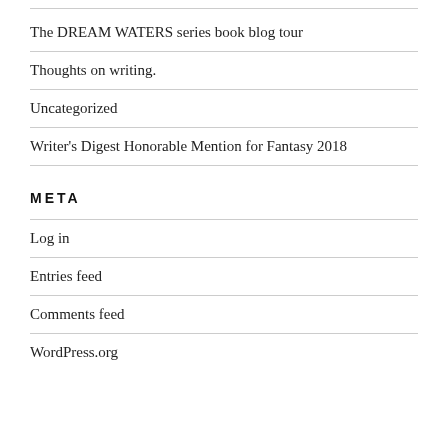The DREAM WATERS series book blog tour
Thoughts on writing.
Uncategorized
Writer's Digest Honorable Mention for Fantasy 2018
META
Log in
Entries feed
Comments feed
WordPress.org